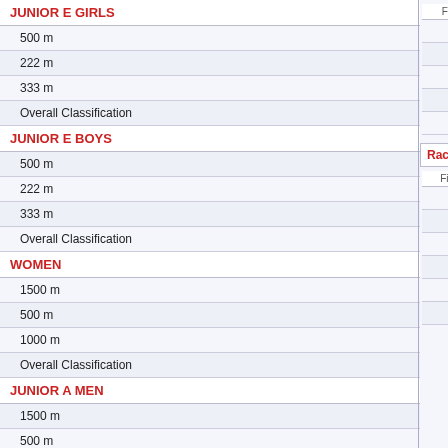JUNIOR E GIRLS
500 m
222 m
333 m
Overall Classification
JUNIOR E BOYS
500 m
222 m
333 m
Overall Classification
WOMEN
1500 m
500 m
1000 m
Overall Classification
JUNIOR A MEN
1500 m
500 m
1000 m
Overall Classification
RELAY E-F GIRLS
2000 m
RELAY E-F BOYS
| Finish | StartPos. | Nr. | Name |
| --- | --- | --- | --- |
| 2. | 1 | 67 | GY... |
| 3. | 6 | 24 | Sa... |
| 4. | 4 | 87 | KO... |
| 5. | 5 | 2 | So... |
| 6. | 2 | 20 | Ju... |
Race 16, Group 1 (3...)
| Finish | StartPos. | Nr. | Name |
| --- | --- | --- | --- |
| 1. | 2 | 163 | Ye... |
| 2. | 6 | 65 | GA... |
| 3. | 1 | 154 | Elz... |
| 4. | 3 | 150 | Efs... |
| 5. | 4 | 162 | Ka... |
| 6. | 5 | 60 | SZ... |